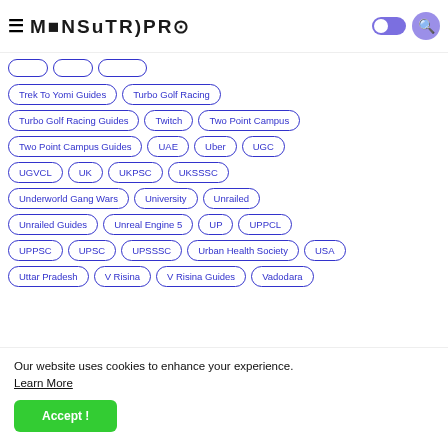MENSUTROPRO
Trek To Yomi Guides
Turbo Golf Racing
Turbo Golf Racing Guides
Twitch
Two Point Campus
Two Point Campus Guides
UAE
Uber
UGC
UGVCL
UK
UKPSC
UKSSSC
Underworld Gang Wars
University
Unrailed
Unrailed Guides
Unreal Engine 5
UP
UPPCL
UPPSC
UPSC
UPSSSC
Urban Health Society
USA
Uttar Pradesh
V Risina
V Risina Guides
Vadodara
Our website uses cookies to enhance your experience. Learn More
Accept !